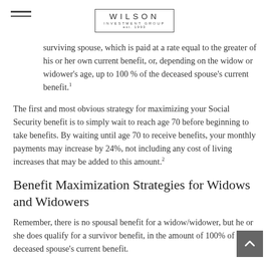WILSON INVESTMENT GROUP est. 1993
surviving spouse, which is paid at a rate equal to the greater of his or her own current benefit, or, depending on the widow or widower's age, up to 100 % of the deceased spouse's current benefit.1
The first and most obvious strategy for maximizing your Social Security benefit is to simply wait to reach age 70 before beginning to take benefits. By waiting until age 70 to receive benefits, your monthly payments may increase by 24%, not including any cost of living increases that may be added to this amount.2
Benefit Maximization Strategies for Widows and Widowers
Remember, there is no spousal benefit for a widow/widower, but he or she does qualify for a survivor benefit, in the amount of 100% of the deceased spouse's current benefit.